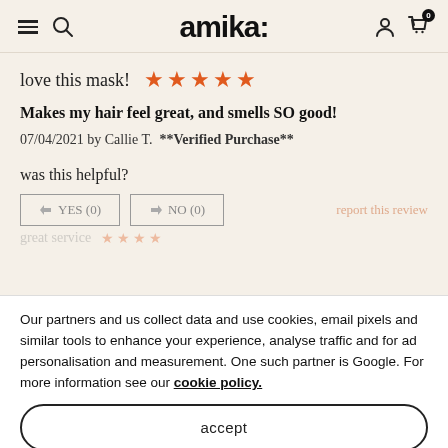amika:
love this mask! ★★★★★
Makes my hair feel great, and smells SO good!
07/04/2021 by Callie T.  **Verified Purchase**
was this helpful?
👍 YES (0)   👎 NO (0)   report this review
Our partners and us collect data and use cookies, email pixels and similar tools to enhance your experience, analyse traffic and for ad personalisation and measurement. One such partner is Google. For more information see our cookie policy.
accept